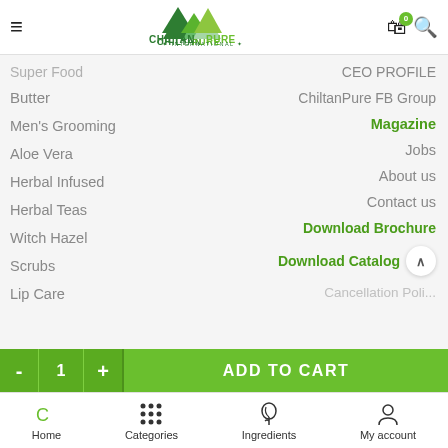ChiltanPure International - navigation header with hamburger menu, logo, cart, and search
Super Food
Butter
Men's Grooming
Aloe Vera
Herbal Infused
Herbal Teas
Witch Hazel
Scrubs
Lip Care
CEO PROFILE
ChiltanPure FB Group
Magazine
Jobs
About us
Contact us
Download Brochure
Download Catalog
Cancellation Poli...
ADD TO CART
Home | Categories | Ingredients | My account